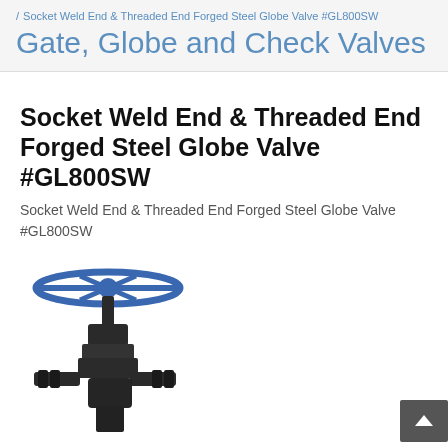/ Socket Weld End & Threaded End Forged Steel Globe Valve #GL800SW
Gate, Globe and Check Valves
Socket Weld End & Threaded End Forged Steel Globe Valve #GL800SW
Socket Weld End & Threaded End Forged Steel Globe Valve #GL800SW
[Figure (photo): Photo of a blue-handled black forged steel globe valve (Socket Weld End & Threaded End, GL800SW) showing the handwheel, bonnet, and body from a slightly angled front view.]